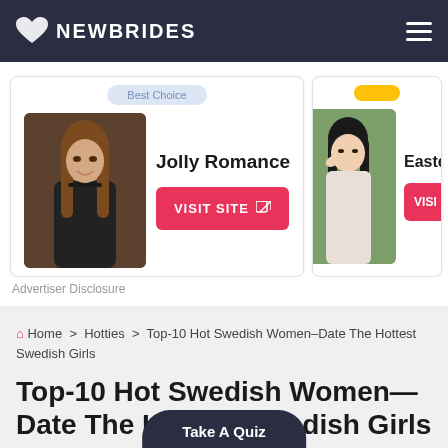NEWBRIDES
[Figure (infographic): Dating site card for Jolly Romance with Best Choice badge, woman photo, and pink VISIT SITE button]
[Figure (infographic): Second dating site card partially visible showing Eastern Honeys with yellow badge and VISIT SITE button]
Advertiser Disclosure
Home > Hotties > Top-10 Hot Swedish Women—Date The Hottest Swedish Girls
Top-10 Hot Swedish Women—Date The Hottest Swedish Girls
by Rebecca Adams  June 24, 2022
Take A Quiz